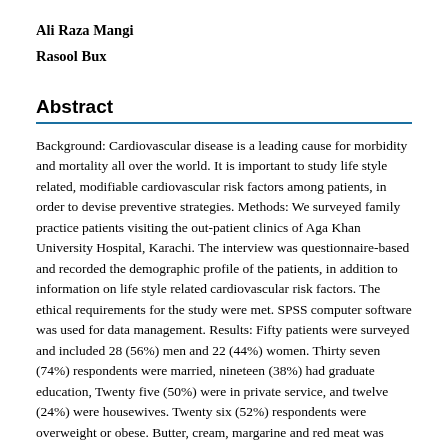Ali Raza Mangi
Rasool Bux
Abstract
Background: Cardiovascular disease is a leading cause for morbidity and mortality all over the world. It is important to study life style related, modifiable cardiovascular risk factors among patients, in order to devise preventive strategies. Methods: We surveyed family practice patients visiting the out-patient clinics of Aga Khan University Hospital, Karachi. The interview was questionnaire-based and recorded the demographic profile of the patients, in addition to information on life style related cardiovascular risk factors. The ethical requirements for the study were met. SPSS computer software was used for data management. Results: Fifty patients were surveyed and included 28 (56%) men and 22 (44%) women. Thirty seven (74%) respondents were married, nineteen (38%) had graduate education, Twenty five (50%) were in private service, and twelve (24%) were housewives. Twenty six (52%) respondents were overweight or obese. Butter, cream, margarine and red meat was consumed by 17(34%) and